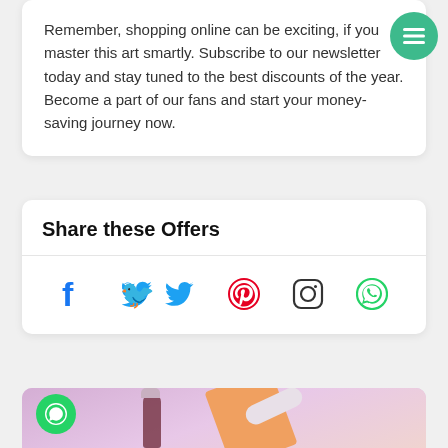Remember, shopping online can be exciting, if you master this art smartly. Subscribe to our newsletter today and stay tuned to the best discounts of the year. Become a part of our fans and start your money-saving journey now.
Share these Offers
[Figure (infographic): Social media sharing icons: Facebook (blue), Twitter (blue), Pinterest (pink/red), Instagram (dark outline), WhatsApp (green)]
[Figure (photo): Product photo on pink/lavender background showing Ceremonia hair oil bottle and a white tube product on orange card]